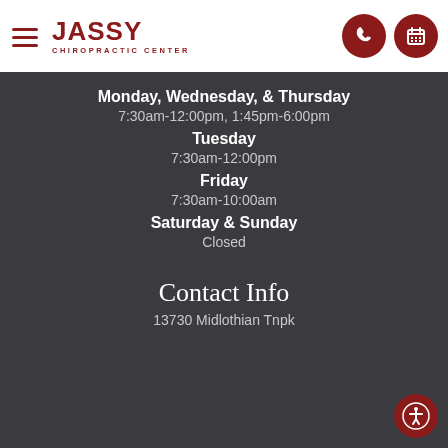JASSY CHIROPRACTIC CENTER
Monday, Wednesday, & Thursday
7:30am-12:00pm, 1:45pm-6:00pm
Tuesday
7:30am-12:00pm
Friday
7:30am-10:00am
Saturday & Sunday
Closed
Contact Info
13730 Midlothian Tnpk